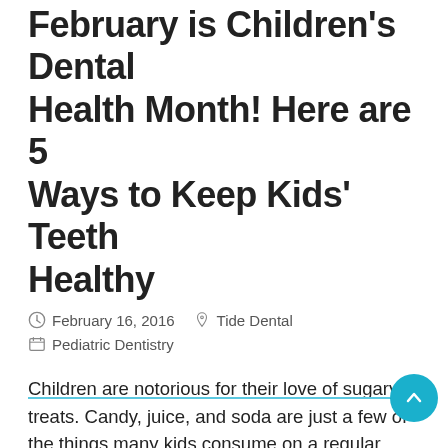February is Children's Dental Health Month! Here are 5 Ways to Keep Kids' Teeth Healthy
February 16, 2016   Tide Dental   Pediatric Dentistry
Children are notorious for their love of sugary treats. Candy, juice, and soda are just a few of the things many kids consume on a regular basis. Unfortunately, these habits are causing major dental health problems. Dentists are seeing an...
Read more